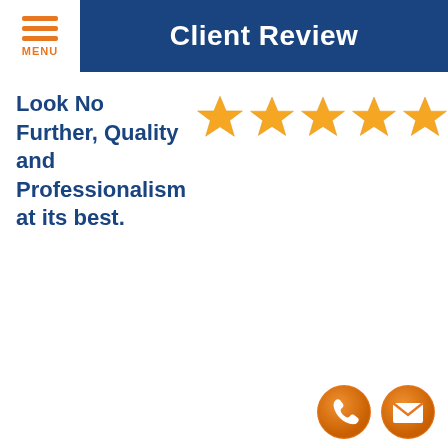Client Review
Look No Further, Quality and Professionalism at its best.
[Figure (infographic): Five gold star rating icons arranged horizontally]
[Figure (infographic): Two orange circular icons: a phone handset icon and an envelope/email icon, positioned at bottom right]